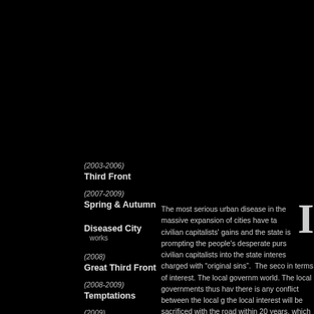(2003-2006)
Third Front
(2007-2009)
Spring & Autumn
Diseased City
   works
(2008)
Great Third Front
(2008-2009)
Temptations
(2009)
Silk Road
Smog City
(2010)
Sample Room
The most serious urban disease in the massive expansion of cities have taken civilian capitalists' gains and the state is prompting the people's desperate pursuit civilian capitalists into the state interests charged with "original sins".  The second in terms of interest. The local government world. The local governments thus have there is any conflict between the local the local interest will be sacrificed with the road within 20 years, which the we conflicts, our cities have gained unprecedchanged the cities physically, it has also and thieves forming the interest groups environmental pollution, in different